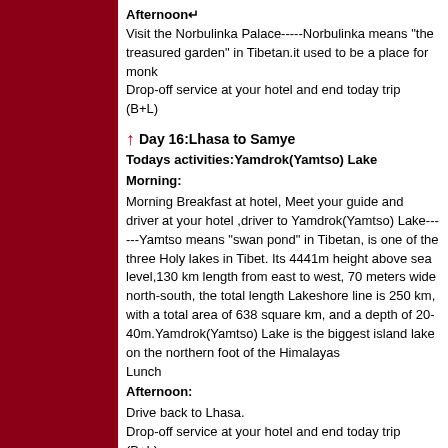Afternoon↵
Visit the Norbulinka Palace-----Norbulinka means "the treasured garden" in Tibetan.it used to be a place for monk
Drop-off service at your hotel and end today trip
(B+L)
Day 16:Lhasa to Samye
Todays activities:Yamdrok(Yamtso) Lake
Morning:
Morning Breakfast at hotel, Meet your guide and driver at your hotel ,driver to Yamdrok(Yamtso) Lake------Yamtso means "swan pond" in Tibetan, is one of the three Holy lakes in Tibet. Its 4441m height above sea level,130 km length from east to west, 70 meters wide north-south, the total length Lakeshore line is 250 km, with a total area of 638 square km, and a depth of 20-40m.Yamdrok(Yamtso) Lake is the biggest island lake on the northern foot of the Himalayas
Lunch
Afternoon:
Drive back to Lhasa.
Drop-off service at your hotel and end today trip
(B+L)